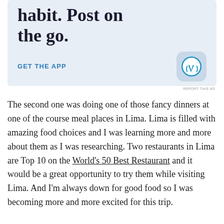[Figure (screenshot): WordPress app advertisement banner with headline 'habit. Post on the go.', a 'GET THE APP' call-to-action link, and the WordPress app icon logo on a light blue background.]
REPORT THIS AD
The second one was doing one of those fancy dinners at one of the course meal places in Lima. Lima is filled with amazing food choices and I was learning more and more about them as I was researching. Two restaurants in Lima are Top 10 on the World's 50 Best Restaurant and it would be a great opportunity to try them while visiting Lima. And I'm always down for good food so I was becoming more and more excited for this trip.